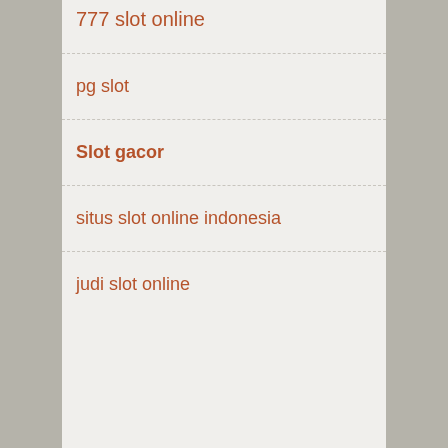777 slot online
pg slot
Slot gacor
situs slot online indonesia
judi slot online